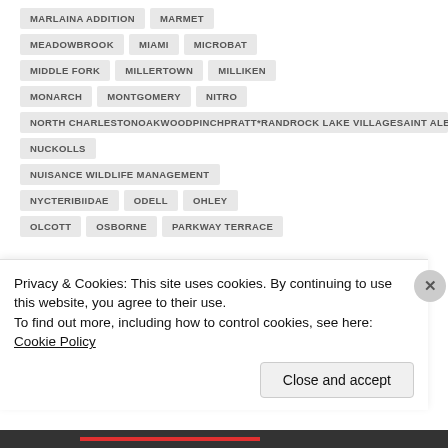MARLAINA ADDITION
MARMET
MEADOWBROOK
MIAMI
MICROBAT
MIDDLE FORK
MILLERTOWN
MILLIKEN
MONARCH
MONTGOMERY
NITRO
NORTH CHARLESTONOAKWOODPINCHPRATT*RANDROCK LAKE VILLAGESAINT ALBANS
NUCKOLLS
NUISANCE WILDLIFE MANAGEMENT
NYCTERIBIIDAE
ODELL
OHLEY
OLCOTT
OSBORNE
PARKWAY TERRACE
Privacy & Cookies: This site uses cookies. By continuing to use this website, you agree to their use.
To find out more, including how to control cookies, see here: Cookie Policy